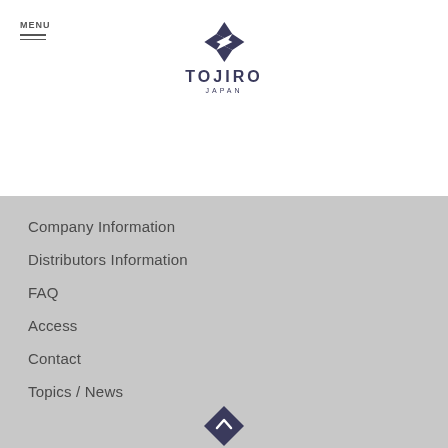MENU
[Figure (logo): Tojiro Japan diamond-shaped logo with TOJIRO JAPAN text]
Company Information
Distributors Information
FAQ
Access
Contact
Topics / News